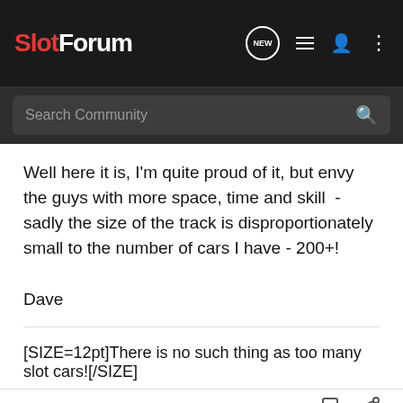SlotForum — Search Community
Well here it is, I'm quite proud of it, but envy the guys with more space, time and skill  - sadly the size of the track is disproportionately small to the number of cars I have - 200+!

Dave
[SIZE=12pt]There is no such thing as too many slot cars![/SIZE]
LMP · Gary Skipp 🇬🇧
Joined Mar 21, 2004 · 6,701 Posts